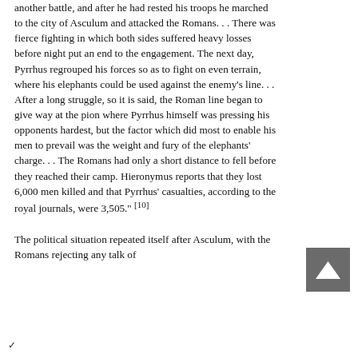another battle, and after he had rested his troops he marched to the city of Asculum and attacked the Romans. . . There was fierce fighting in which both sides suffered heavy losses before night put an end to the engagement. The next day, Pyrrhus regrouped his forces so as to fight on even terrain, where his elephants could be used against the enemy's line. . . After a long struggle, so it is said, the Roman line began to give way at the pion where Pyrrhus himself was pressing his opponents hardest, but the factor which did most to enable his men to prevail was the weight and fury of the elephants' charge. . . The Romans had only a short distance to fell before they reached their camp. Hieronymus reports that they lost 6,000 men killed and that Pyrrhus' casualties, according to the royal journals, were 3,505." [10]
The political situation repeated itself after Asculum, with the Romans rejecting any talk of
[Figure (other): Gray scroll-to-top button with white upward-pointing triangle/chevron icon]